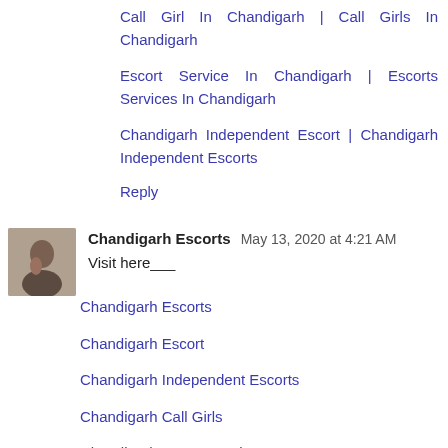Call Girl In Chandigarh | Call Girls In Chandigarh
Escort Service In Chandigarh | Escorts Services In Chandigarh
Chandigarh Independent Escort | Chandigarh Independent Escorts
Reply
Chandigarh Escorts  May 13, 2020 at 4:21 AM
Visit here___
Chandigarh Escorts
Chandigarh Escort
Chandigarh Independent Escorts
Chandigarh Call Girls
Chandigarh Escort Service